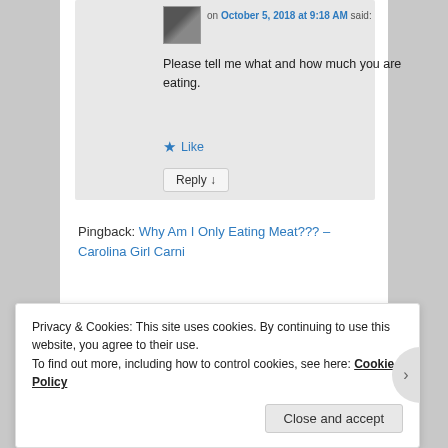on October 5, 2018 at 9:18 AM said:
Please tell me what and how much you are eating.
Like
Reply ↓
Pingback: Why Am I Only Eating Meat??? – Carolina Girl Carni
Privacy & Cookies: This site uses cookies. By continuing to use this website, you agree to their use.
To find out more, including how to control cookies, see here: Cookie Policy
Close and accept